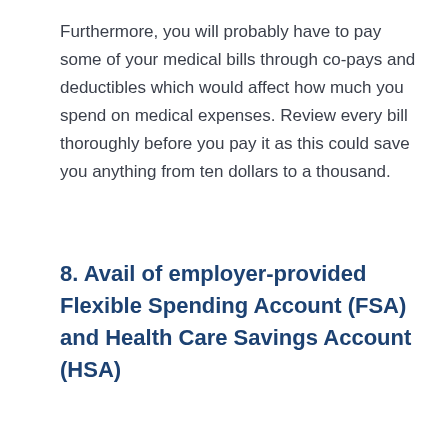Furthermore, you will probably have to pay some of your medical bills through co-pays and deductibles which would affect how much you spend on medical expenses. Review every bill thoroughly before you pay it as this could save you anything from ten dollars to a thousand.
8. Avail of employer-provided Flexible Spending Account (FSA) and Health Care Savings Account (HSA)